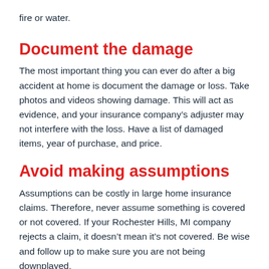fire or water.
Document the damage
The most important thing you can ever do after a big accident at home is document the damage or loss. Take photos and videos showing damage. This will act as evidence, and your insurance company’s adjuster may not interfere with the loss. Have a list of damaged items, year of purchase, and price.
Avoid making assumptions
Assumptions can be costly in large home insurance claims. Therefore, never assume something is covered or not covered. If your Rochester Hills, MI company rejects a claim, it doesn’t mean it’s not covered. Be wise and follow up to make sure you are not being downplayed.